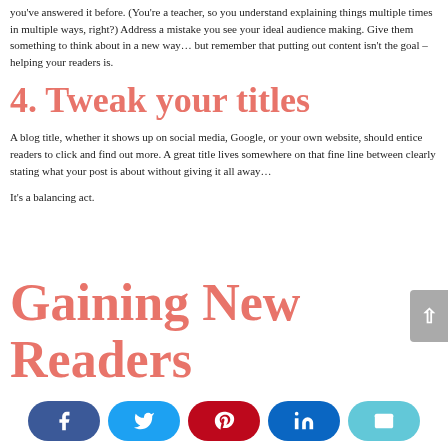you've answered it before. (You're a teacher, so you understand explaining things multiple times in multiple ways, right?) Address a mistake you see your ideal audience making. Give them something to think about in a new way… but remember that putting out content isn't the goal – helping your readers is.
4. Tweak your titles
A blog title, whether it shows up on social media, Google, or your own website, should entice readers to click and find out more. A great title lives somewhere on that fine line between clearly stating what your post is about without giving it all away…
It's a balancing act.
Gaining New Readers